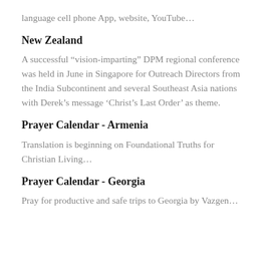language cell phone App, website, YouTube…
New Zealand
A successful “vision-imparting” DPM regional conference was held in June in Singapore for Outreach Directors from the India Subcontinent and several Southeast Asia nations with Derek’s message ‘Christ’s Last Order’ as theme.
Prayer Calendar - Armenia
Translation is beginning on Foundational Truths for Christian Living…
Prayer Calendar - Georgia
Pray for productive and safe trips to Georgia by Vazgen…